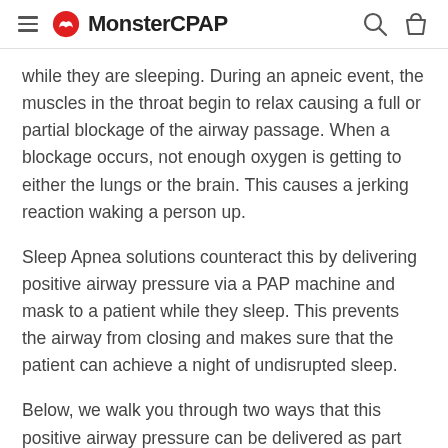MonsterCPAP
while they are sleeping. During an apneic event, the muscles in the throat begin to relax causing a full or partial blockage of the airway passage. When a blockage occurs, not enough oxygen is getting to either the lungs or the brain. This causes a jerking reaction waking a person up.
Sleep Apnea solutions counteract this by delivering positive airway pressure via a PAP machine and mask to a patient while they sleep. This prevents the airway from closing and makes sure that the patient can achieve a night of undisrupted sleep.
Below, we walk you through two ways that this positive airway pressure can be delivered as part